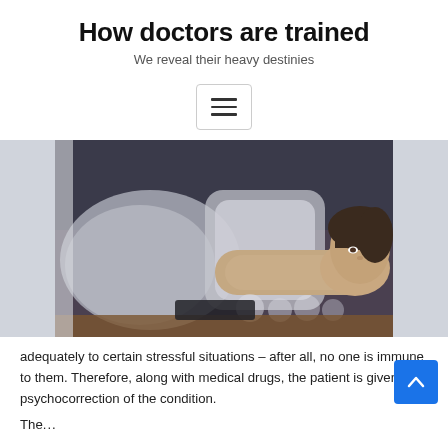How doctors are trained
We reveal their heavy destinies
[Figure (other): Menu/hamburger button icon with three horizontal lines inside a bordered rectangle]
[Figure (photo): A woman lying down on pillows looking sad or distressed, in a dark moody room]
adequately to certain stressful situations – after all, no one is immune to them. Therefore, along with medical drugs, the patient is given psychocorrection of the condition.
The...